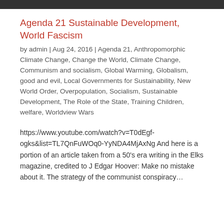Agenda 21 Sustainable Development, World Fascism
by admin | Aug 24, 2016 | Agenda 21, Anthropomorphic Climate Change, Change the World, Climate Change, Communism and socialism, Global Warming, Globalism, good and evil, Local Governments for Sustainability, New World Order, Overpopulation, Socialism, Sustainable Development, The Role of the State, Training Children, welfare, Worldview Wars
https://www.youtube.com/watch?v=T0dEgf-ogks&list=TL7QnFuWOq0-YyNDA4MjAxNg And here is a portion of an article taken from a 50’s era writing in the Elks magazine, credited to J Edgar Hoover: Make no mistake about it. The strategy of the communist conspiracy…